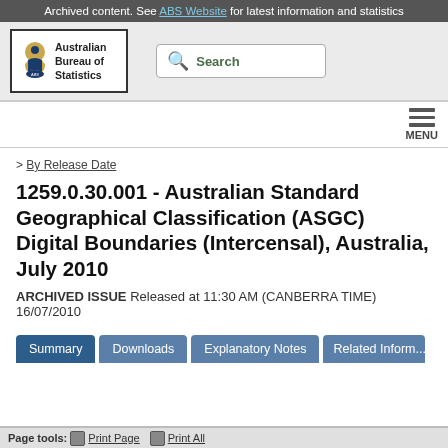Archived content. See ABS Website for latest information and statistics
[Figure (logo): Australian Bureau of Statistics logo with coat of arms crest and text 'Australian Bureau of Statistics' in a bordered box]
Search
MENU
> By Release Date
1259.0.30.001 - Australian Standard Geographical Classification (ASGC) Digital Boundaries (Intercensal), Australia, July 2010
ARCHIVED ISSUE Released at 11:30 AM (CANBERRA TIME) 16/07/2010
Summary | Downloads | Explanatory Notes | Related Inform...
Page tools: Print Page  Print All